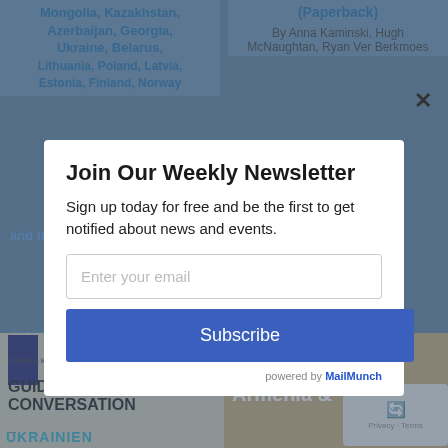[Figure (screenshot): Background webpage showing book listings with blue bold titles for travel guides including Mongolia, Kazakhstan, Azerbaijan, Georgia, Ukraine, Belarus, Lithuania, Poland, Latvia, Estonia, Finland, Norway and related books. Page is dimmed behind a modal overlay.]
Join Our Weekly Newsletter
Sign up today for free and be the first to get notified about news and events.
Enter your email
Subscribe
powered by MailMunch
[Figure (screenshot): Bottom left: book cover for 'Guide de Conversation Ukrainien' with teal title text on light background. Bottom right: Lonely Planet Georgia, Armenia & Azerbaijan book cover on brown/tan background. Bottom right corner shows a CAPTCHA widget with Privacy Terms text.]